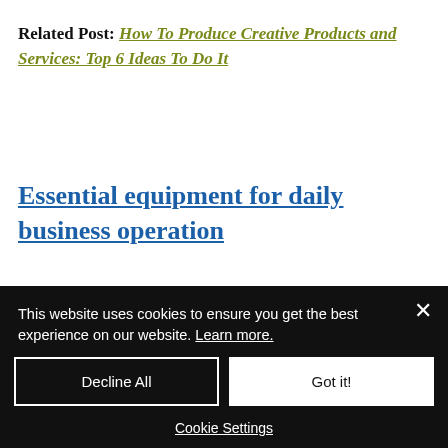Related Post: How To Produce Creative Products and Services: Top 6 Ideas To Do It
Essential equipment for daily business operation
Essential equipment you need to have in your office or store may include telephone, computer...
This website uses cookies to ensure you get the best experience on our website. Learn more.
Decline All | Got it! | Cookie Settings